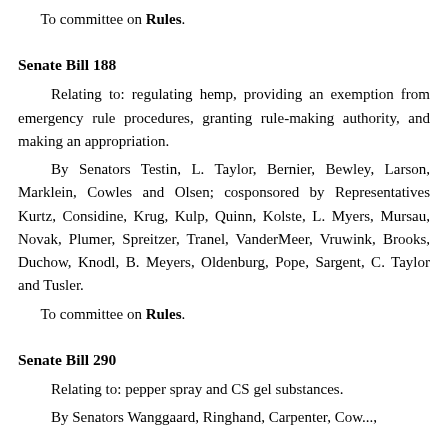To committee on Rules.
Senate Bill 188
Relating to: regulating hemp, providing an exemption from emergency rule procedures, granting rule-making authority, and making an appropriation.
By Senators Testin, L. Taylor, Bernier, Bewley, Larson, Marklein, Cowles and Olsen; cosponsored by Representatives Kurtz, Considine, Krug, Kulp, Quinn, Kolste, L. Myers, Mursau, Novak, Plumer, Spreitzer, Tranel, VanderMeer, Vruwink, Brooks, Duchow, Knodl, B. Meyers, Oldenburg, Pope, Sargent, C. Taylor and Tusler.
To committee on Rules.
Senate Bill 290
Relating to: pepper spray and CS gel substances.
By Senators Wanggaard, Ringhand, Carpenter, Cow...,